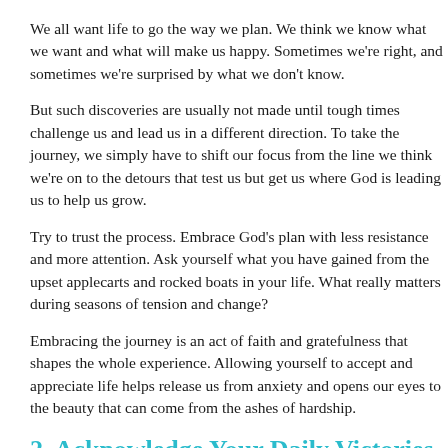We all want life to go the way we plan. We think we know what we want and what will make us happy. Sometimes we're right, and sometimes we're surprised by what we don't know.
But such discoveries are usually not made until tough times challenge us and lead us in a different direction. To take the journey, we simply have to shift our focus from the line we think we're on to the detours that test us but get us where God is leading us to help us grow.
Try to trust the process. Embrace God's plan with less resistance and more attention. Ask yourself what you have gained from the upset applecarts and rocked boats in your life. What really matters during seasons of tension and change?
Embracing the journey is an act of faith and gratefulness that shapes the whole experience. Allowing yourself to accept and appreciate life helps release us from anxiety and opens our eyes to the beauty that can come from the ashes of hardship.
2. Acknowledge Your Daily Victories